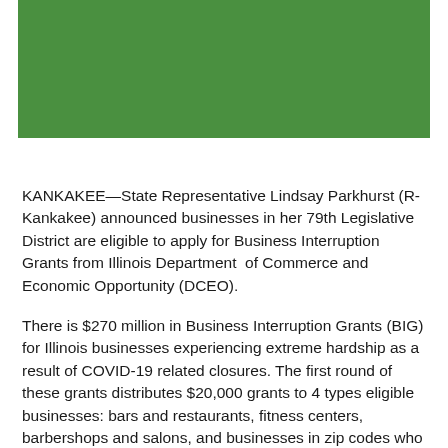[Figure (other): Green banner/header image with partial yellow graphic element visible at top center]
KANKAKEE—State Representative Lindsay Parkhurst (R-Kankakee) announced businesses in her 79th Legislative District are eligible to apply for Business Interruption Grants from Illinois Department of Commerce and Economic Opportunity (DCEO).
There is $270 million in Business Interruption Grants (BIG) for Illinois businesses experiencing extreme hardship as a result of COVID-19 related closures. The first round of these grants distributes $20,000 grants to 4 types eligible businesses: bars and restaurants, fitness centers, barbershops and salons, and businesses in zip codes who experienced property damage from civil unrest.